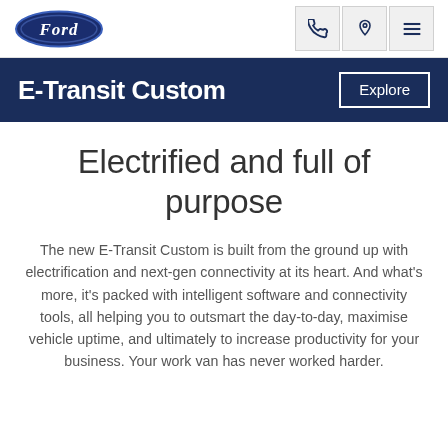[Figure (logo): Ford oval logo in blue with white 'Ford' script text]
E-Transit Custom   Explore
Electrified and full of purpose
The new E-Transit Custom is built from the ground up with electrification and next-gen connectivity at its heart. And what's more, it's packed with intelligent software and connectivity tools, all helping you to outsmart the day-to-day, maximise vehicle uptime, and ultimately to increase productivity for your business. Your work van has never worked harder.